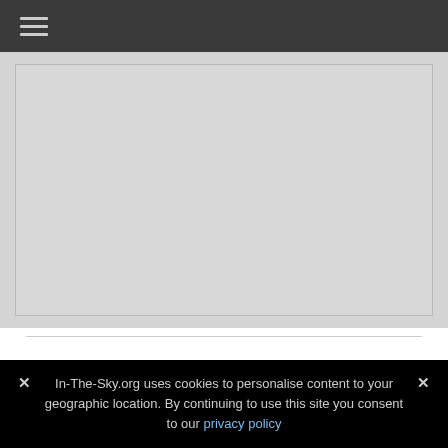☰ (hamburger menu icon)
[Figure (other): Large light grey placeholder image box with border]
In-The-Sky.org uses cookies to personalise content to your geographic location. By continuing to use this site you consent to our privacy policy